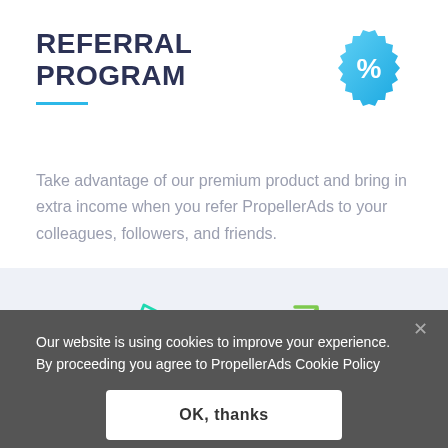REFERRAL PROGRAM
[Figure (illustration): Blue badge/seal icon with a percent (%) symbol in the center]
Take advantage of our premium product and bring in extra income when you refer PropellerAds to your colleagues, followers, and friends.
[Figure (illustration): Teal/cyan paper plane (send/share) icon outline]
[Figure (illustration): Green diagonal arrow (external link/share) icon outline]
Our website is using cookies to improve your experience. By proceeding you agree to PropellerAds Cookie Policy
OK, thanks